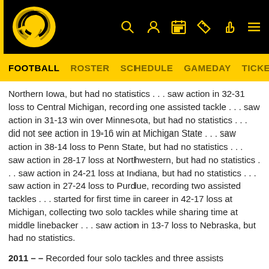Iowa Hawkeyes Football — site header with logo and navigation icons
FOOTBALL  ROSTER  SCHEDULE  GAMEDAY  TICKETS  CH
Northern Iowa, but had no statistics . . . saw action in 32-31 loss to Central Michigan, recording one assisted tackle . . . saw action in 31-13 win over Minnesota, but had no statistics . . . did not see action in 19-16 win at Michigan State . . . saw action in 38-14 loss to Penn State, but had no statistics . . . saw action in 28-17 loss at Northwestern, but had no statistics . . . saw action in 24-21 loss at Indiana, but had no statistics . . . saw action in 27-24 loss to Purdue, recording two assisted tackles . . . started for first time in career in 42-17 loss at Michigan, collecting two solo tackles while sharing time at middle linebacker . . . saw action in 13-7 loss to Nebraska, but had no statistics.
2011 – – Recorded four solo tackles and three assists